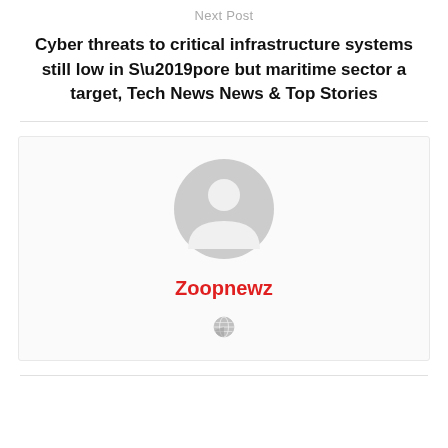Next Post
Cyber threats to critical infrastructure systems still low in S’pore but maritime sector a target, Tech News News & Top Stories
[Figure (illustration): Author card with a generic grey user avatar silhouette, the author name 'Zoopnewz' in red bold text, and a small grey globe icon below the name.]